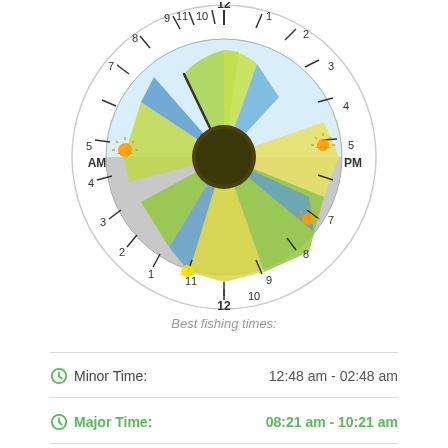[Figure (other): Circular fishing times clock dial with AM/PM labels, hour markers 1-12 on both halves, colored wedge sectors (green, yellow, blue) indicating fishing activity periods, dark center circle, sunrise/sunset icons at approximately 7AM, 5PM, 2PM, and 7PM positions]
Best fishing times:
Minor Time:    12:48 am - 02:48 am
Major Time:    08:21 am - 10:21 am